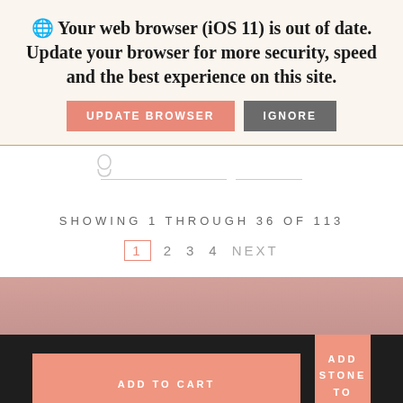🌐 Your web browser (iOS 11) is out of date. Update your browser for more security, speed and the best experience on this site.
UPDATE BROWSER | IGNORE
[Figure (illustration): Small lock/person icon logo in light gray]
SHOWING 1 THROUGH 36 OF 113
1  2  3  4  NEXT
[Figure (other): Pink/rose gradient band footer area]
ADD TO CART
ADD STONE TO RING